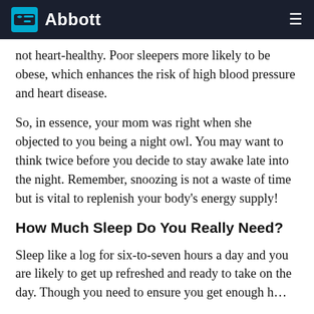Abbott
not heart-healthy. Poor sleepers more likely to be obese, which enhances the risk of high blood pressure and heart disease.
So, in essence, your mom was right when she objected to you being a night owl. You may want to think twice before you decide to stay awake late into the night. Remember, snoozing is not a waste of time but is vital to replenish your body's energy supply!
How Much Sleep Do You Really Need?
Sleep like a log for six-to-seven hours a day and you are likely to get up refreshed and ready to take on the day. Though you need to ensure you get enough h…